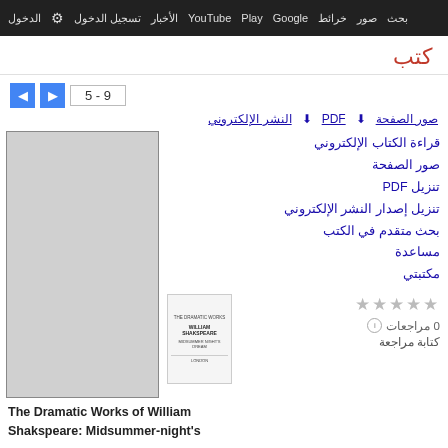بحث صور خرائط Google Play YouTube الأخبار تسجيل الدخول الإعدادات
كتب
5 - 9
صور الصفحة  PDF  النشر الإلكتروني
قراءة الكتاب الإلكتروني
صور الصفحة
تنزيل PDF
تنزيل إصدار النشر الإلكتروني
بحث متقدم في الكتب
مساعدة
مكتبتي
[Figure (illustration): Book cover thumbnail for The Dramatic Works of William Shakspeare]
0 مراجعات
كتابة مراجعة
The Dramatic Works of William Shakspeare: Midsummer-night's